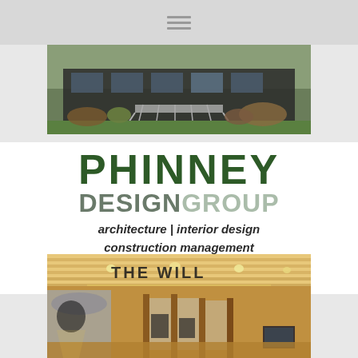[Figure (photo): Top navigation bar with hamburger menu icon on gray background]
[Figure (photo): Exterior photo of a building with landscaping, green lawn, and architectural features]
PHINNEY DESIGN GROUP architecture | interior design construction management PHINNEYDESIGN.COM
[Figure (photo): Interior photo of a venue or lobby with warm wood ceiling, recessed lighting, and signage reading THE WILL...]